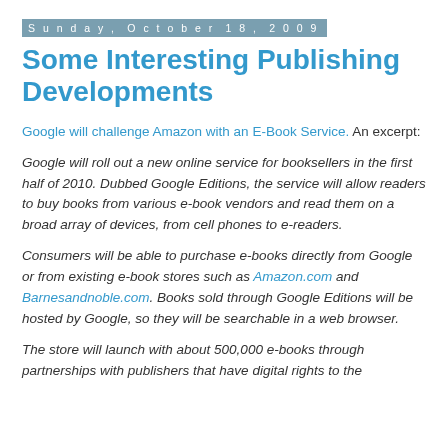Sunday, October 18, 2009
Some Interesting Publishing Developments
Google will challenge Amazon with an E-Book Service. An excerpt:
Google will roll out a new online service for booksellers in the first half of 2010. Dubbed Google Editions, the service will allow readers to buy books from various e-book vendors and read them on a broad array of devices, from cell phones to e-readers.
Consumers will be able to purchase e-books directly from Google or from existing e-book stores such as Amazon.com and Barnesandnoble.com. Books sold through Google Editions will be hosted by Google, so they will be searchable in a web browser.
The store will launch with about 500,000 e-books through partnerships with publishers that have digital rights to the